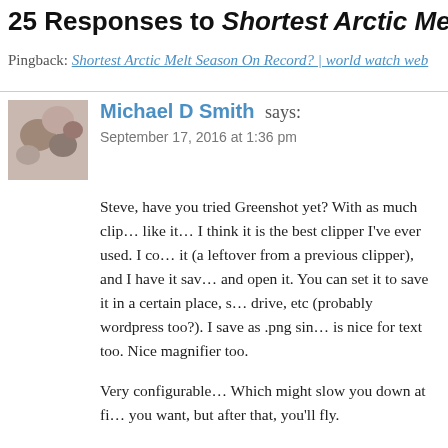25 Responses to Shortest Arctic Melt Seas…
Pingback: Shortest Arctic Melt Season On Record? | world watch web
Michael D Smith says: September 17, 2016 at 1:36 pm
Steve, have you tried Greenshot yet? With as much clip… like it… I think it is the best clipper I've ever used. I co… it (a leftover from a previous clipper), and I have it sav… and open it. You can set it to save it in a certain place, s… drive, etc (probably wordpress too?). I save as .png sin… is nice for text too. Nice magnifier too.
Very configurable… Which might slow you down at fi… you want, but after that, you'll fly.
http://getgreenshot.org/
Reply